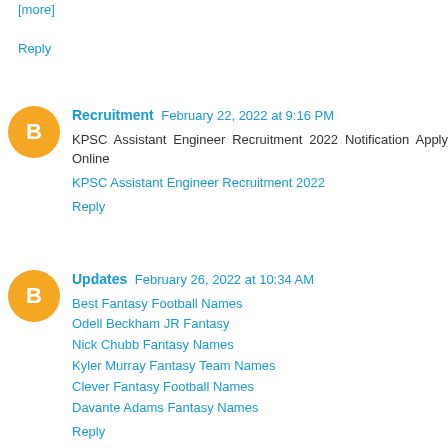[more]
Reply
Recruitment  February 22, 2022 at 9:16 PM
KPSC Assistant Engineer Recruitment 2022 Notification Apply Online
KPSC Assistant Engineer Recruitment 2022
Reply
Updates  February 26, 2022 at 10:34 AM
Best Fantasy Football Names
Odell Beckham JR Fantasy
Nick Chubb Fantasy Names
Kyler Murray Fantasy Team Names
Clever Fantasy Football Names
Davante Adams Fantasy Names
Reply